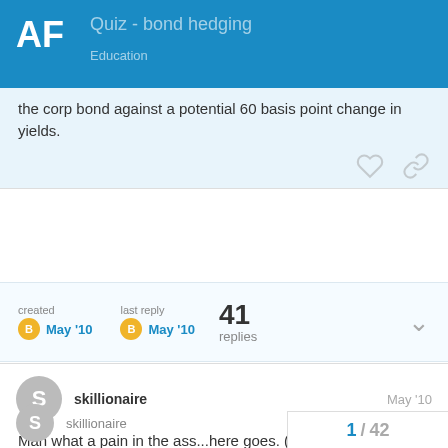AF  Quiz - bond hedging
the corp bond against a potential 60 basis point change in yields.
created  May '10    last reply  May '10    41 replies
skillionaire   May '10

Man what a pain in the ass...here goes. (0-15.5)/(10.68/1.082)*($55MM*.9613)/96.5
1 / 42